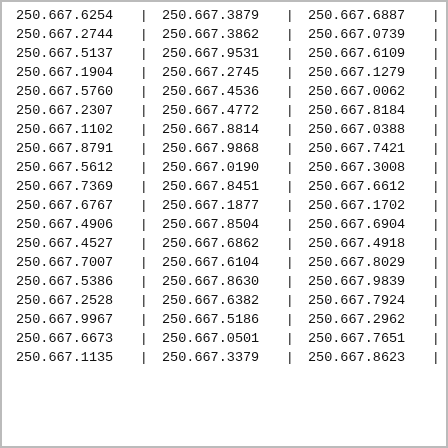| col1 | col2 | col3 |
| --- | --- | --- |
| 250.667.6254 | 250.667.3879 | 250.667.6887 |
| 250.667.2744 | 250.667.3862 | 250.667.0739 |
| 250.667.5137 | 250.667.9531 | 250.667.6109 |
| 250.667.1904 | 250.667.2745 | 250.667.1279 |
| 250.667.5760 | 250.667.4536 | 250.667.0062 |
| 250.667.2307 | 250.667.4772 | 250.667.8184 |
| 250.667.1102 | 250.667.8814 | 250.667.0388 |
| 250.667.8791 | 250.667.9868 | 250.667.7421 |
| 250.667.5612 | 250.667.0190 | 250.667.3008 |
| 250.667.7369 | 250.667.8451 | 250.667.6612 |
| 250.667.6767 | 250.667.1877 | 250.667.1702 |
| 250.667.4906 | 250.667.8504 | 250.667.6904 |
| 250.667.4527 | 250.667.6862 | 250.667.4918 |
| 250.667.7007 | 250.667.6104 | 250.667.8029 |
| 250.667.5386 | 250.667.8630 | 250.667.9839 |
| 250.667.2528 | 250.667.6382 | 250.667.7924 |
| 250.667.9967 | 250.667.5186 | 250.667.2962 |
| 250.667.6673 | 250.667.0501 | 250.667.7651 |
| 250.667.1135 | 250.667.3379 | 250.667.8623 |